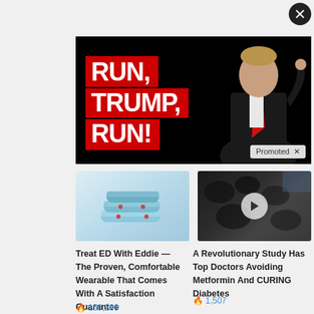[Figure (screenshot): Close/dismiss button (X) in dark circle, top right corner]
[Figure (photo): Promotional banner ad with black background showing red block with bold white text 'RUN, TRUMP, RUN!' and a man in a dark suit with red tie pointing, with 'Promoted X' badge in bottom right]
[Figure (photo): Ad image showing light blue wearable medical device (Eddie ED treatment ring/band)]
Treat ED With Eddie — The Proven, Comfortable Wearable That Comes With A Satisfaction Guarantee
🔥 159,289
[Figure (photo): Ad image showing dark coal/mineral rocks with a video play button overlay]
A Revolutionary Study Has Top Doctors Avoiding Metformin And CURING Diabetes
🔥 1,507